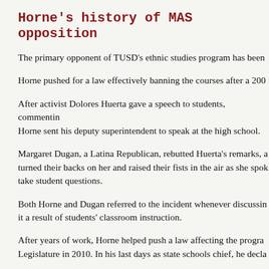Horne's history of MAS opposition
The primary opponent of TUSD's ethnic studies program has been
Horne pushed for a law effectively banning the courses after a 200
After activist Dolores Huerta gave a speech to students, commentin Horne sent his deputy superintendent to speak at the high school.
Margaret Dugan, a Latina Republican, rebutted Huerta's remarks, a turned their backs on her and raised their fists in the air as she spok take student questions.
Both Horne and Dugan referred to the incident whenever discussin it a result of students' classroom instruction.
After years of work, Horne helped push a law affecting the progra Legislature in 2010. In his last days as state schools chief, he decla
Huppenthal announced he would conduct his own investigation int in January 2011. Although a state-ordered independent audit found